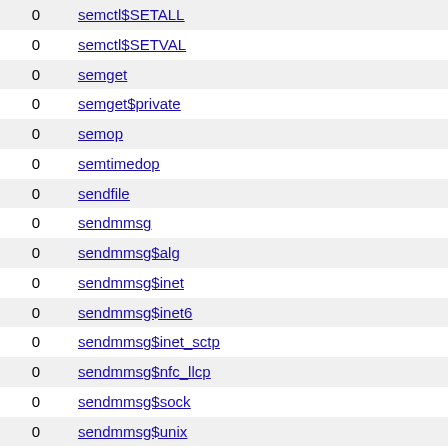|  |  |
| --- | --- |
| 0 | semctl$SETALL |
| 0 | semctl$SETVAL |
| 0 | semget |
| 0 | semget$private |
| 0 | semop |
| 0 | semtimedop |
| 0 | sendfile |
| 0 | sendmmsg |
| 0 | sendmmsg$alg |
| 0 | sendmmsg$inet |
| 0 | sendmmsg$inet6 |
| 0 | sendmmsg$inet_sctp |
| 0 | sendmmsg$nfc_llcp |
| 0 | sendmmsg$sock |
| 0 | sendmmsg$unix |
| 0 | sendmsg |
| 0 | sendmsg$802154_dgram |
| 0 | sendmsg$802154_raw |
| 0 | sendmsg$AUDIT_ADD_RULE |
| 0 | sendmsg$AUDIT_DEL_RULE |
| 0 | sendmsg$AUDIT_GET |